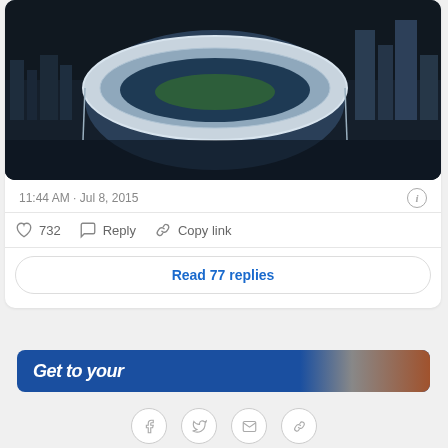[Figure (photo): Aerial view of a large oval stadium surrounded by an urban cityscape, rendered in dark blue tones]
11:44 AM · Jul 8, 2015
732  Reply  Copy link
Read 77 replies
[Figure (photo): Partial advertisement banner with text 'Get to your' and a partial image on the right]
[Figure (infographic): Share bar with Facebook, Twitter, email, and link social share icons]